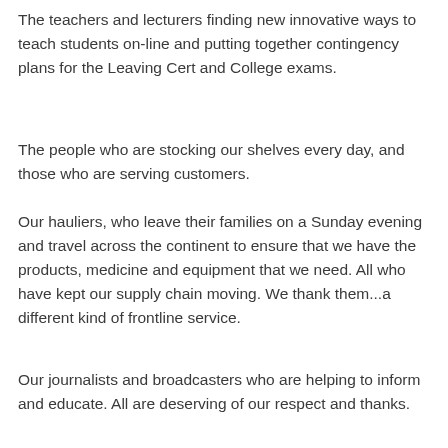The teachers and lecturers finding new innovative ways to teach students on-line and putting together contingency plans for the Leaving Cert and College exams.
The people who are stocking our shelves every day, and those who are serving customers.
Our hauliers, who leave their families on a Sunday evening and travel across the continent to ensure that we have the products, medicine and equipment that we need. All who have kept our supply chain moving. We thank them...a different kind of frontline service.
Our journalists and broadcasters who are helping to inform and educate. All are deserving of our respect and thanks.